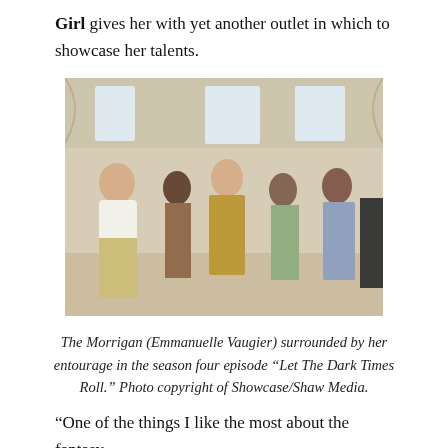Girl gives her with yet another outlet in which to showcase her talents.
[Figure (photo): Group of people in formal/party attire standing in a bright room. A bald man in white shirt on the left, a woman in a gold metallic dress in the centre, surrounded by three other women in various dresses.]
The Morrigan (Emmanuelle Vaugier) surrounded by her entourage in the season four episode “Let The Dark Times Roll.” Photo copyright of Showcase/Shaw Media.
“One of the things I like the most about the fantasy